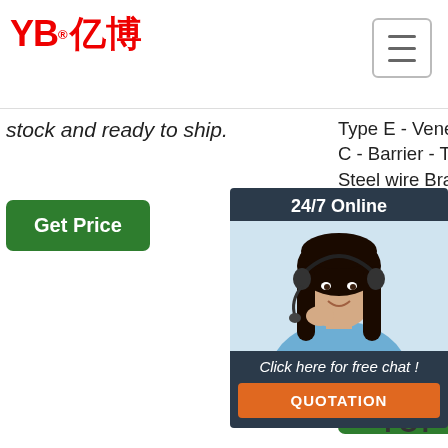YB亿博 (logo) with hamburger menu
stock and ready to ship.
Get Price
Type E - Veneer - Type C - Barrier - Type B - Steel wire Brake Hose - Compressed Air - Vehicles - Compressed Air - Railway -Vacuum Brake Hose - Vehicles Breathing Hose -Compressed Air -Paint Spray - Anaesthetics Bunker Hose - Loading and ...
Get Price
10ml 20ml. See options. BAREFU Bla Pet Hos $20 10m opti Bla Pet Hos $21 10m
[Figure (photo): Chat widget overlay with woman wearing headset, dark background, '24/7 Online' header, 'Click here for free chat!' text, and orange QUOTATION button]
Get Price
TOP